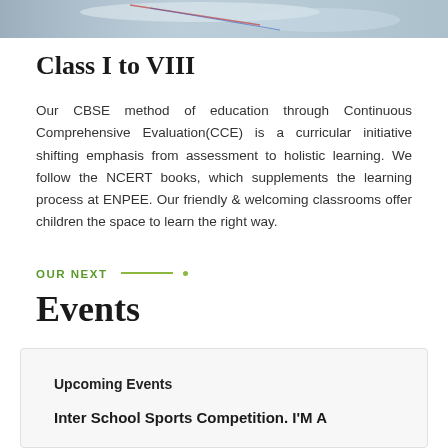[Figure (photo): Partial photo strip at top of page showing a blue-toned image with some objects on a surface]
Class I to VIII
Our CBSE method of education through Continuous Comprehensive Evaluation(CCE) is a curricular initiative shifting emphasis from assessment to holistic learning. We follow the NCERT books, which supplements the learning process at ENPEE. Our friendly & welcoming classrooms offer children the space to learn the right way.
OUR NEXT
Events
Upcoming Events
Inter School Sports Competition. I'M A